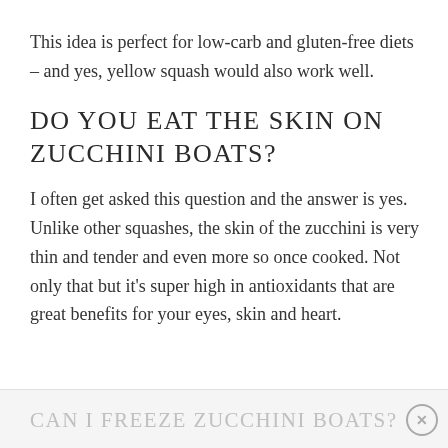This idea is perfect for low-carb and gluten-free diets – and yes, yellow squash would also work well.
DO YOU EAT THE SKIN ON ZUCCHINI BOATS?
I often get asked this question and the answer is yes. Unlike other squashes, the skin of the zucchini is very thin and tender and even more so once cooked. Not only that but it's super high in antioxidants that are great benefits for your eyes, skin and heart.
CAN I FREEZE ZUCCHINI BOATS?